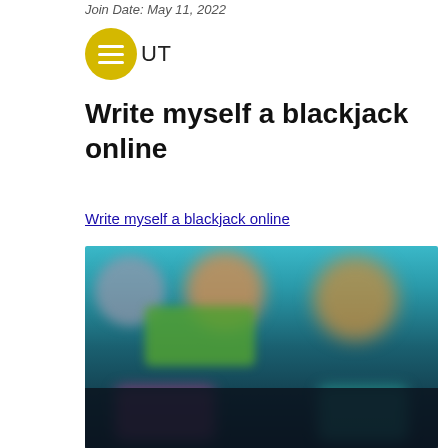Join Date: May 11, 2022
ABOUT
Write myself a blackjack online
Write myself a blackjack online
[Figure (screenshot): Blurred screenshot of an online blackjack or casino game interface showing colorful game thumbnails with characters on a dark background]